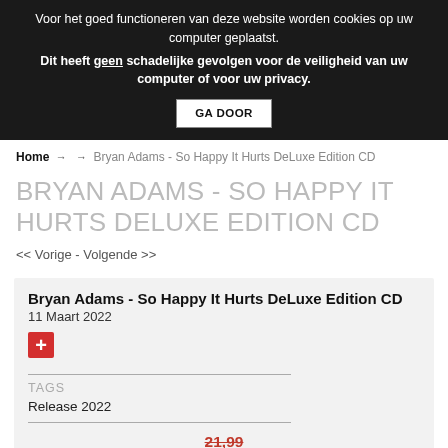Voor het goed functioneren van deze website worden cookies op uw computer geplaatst.
Dit heeft geen schadelijke gevolgen voor de veiligheid van uw computer of voor uw privacy.
GA DOOR
Home → → Bryan Adams - So Happy It Hurts DeLuxe Edition CD
BRYAN ADAMS - SO HAPPY IT HURTS DELUXE EDITION CD
<< Vorige - Volgende >>
Bryan Adams - So Happy It Hurts DeLuxe Edition CD
11 Maart 2022
TAGS
Release 2022
21,99